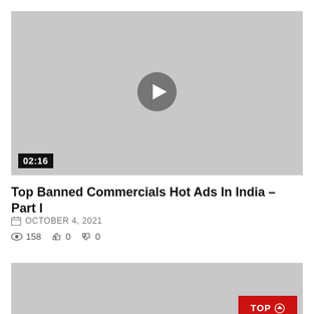[Figure (screenshot): Video thumbnail placeholder — grey rectangle with circular play button in center and duration badge '02:16' in bottom-left corner]
Top Banned Commercials Hot Ads In India – Part I
OCTOBER 4, 2021
158   0   0
[Figure (screenshot): Second video thumbnail placeholder — grey rectangle with red 'TOP ↑' button in bottom-right corner]